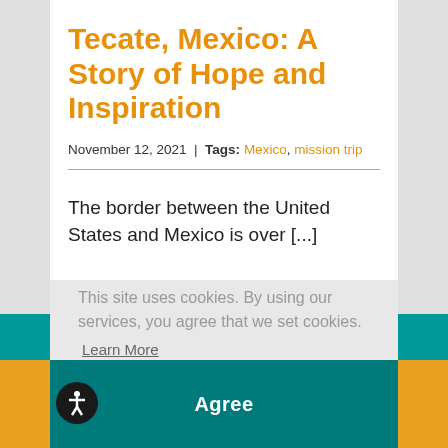Tecate, Mexico: A Story of Hope and Inspiration
November 12, 2021  |  Tags: Mexico, mission trip
The border between the United States and Mexico is over [...]
This site uses cookies. By using our services, you agree that we set cookies. Learn More
Agree